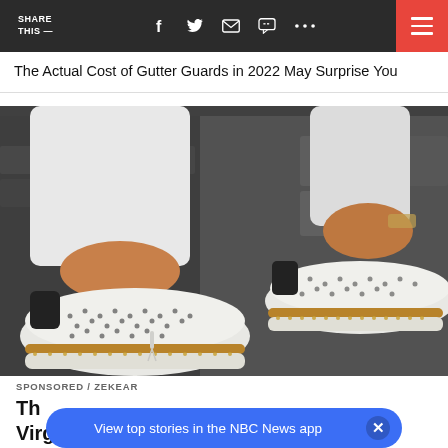SHARE THIS —  [social icons]  [hamburger menu]
The Actual Cost of Gutter Guards in 2022 May Surprise You
[Figure (photo): Close-up photo of a person wearing white skinny jeans and white perforated slip-on sneakers with tan/brown espadrille-style soles, standing on a dark paved surface.]
SPONSORED / ZEKEAR
The [Sneaker] Taking Virginia By Storm
View top stories in the NBC News app